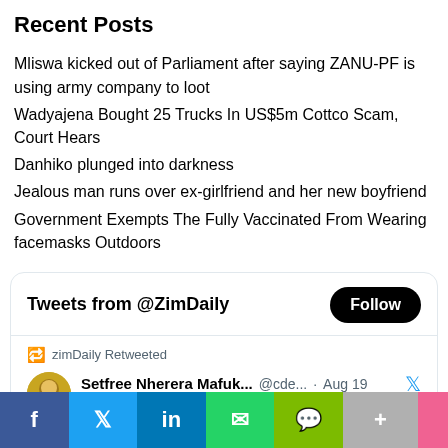Recent Posts
Mliswa kicked out of Parliament after saying ZANU-PF is using army company to loot
Wadyajena Bought 25 Trucks In US$5m Cottco Scam, Court Hears
Danhiko plunged into darkness
Jealous man runs over ex-girlfriend and her new boyfriend
Government Exempts The Fully Vaccinated From Wearing facemasks Outdoors
[Figure (screenshot): Twitter widget showing Tweets from @ZimDaily with a Follow button, and a retweet from Setfree Nherera Mafuk... @cde... Aug 19 saying 'Good afternoon @JusticeMayorW good afternoon']
[Figure (infographic): Social share bar with Facebook, Twitter, LinkedIn, WhatsApp, SMS, More, and an additional pink button]